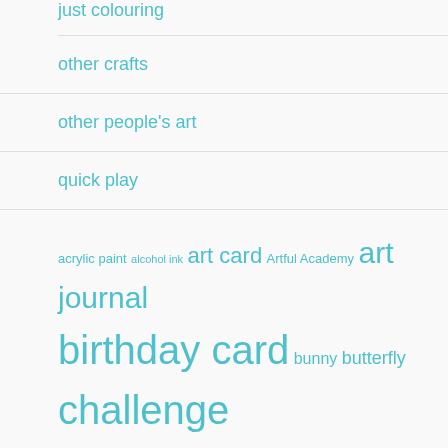just colouring
other crafts
other people's art
quick play
rambling on
techniques
testing
acrylic paint  alcohol ink  art card  Artful Academy  art journal  birthday card  bunny  butterfly  challenge